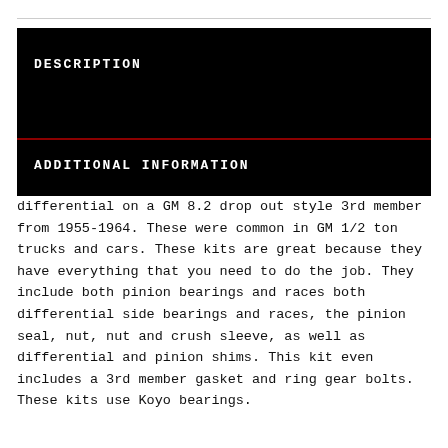DESCRIPTION
ADDITIONAL INFORMATION
differential on a GM 8.2 drop out style 3rd member from 1955-1964. These were common in GM 1/2 ton trucks and cars. These kits are great because they have everything that you need to do the job. They include both pinion bearings and races both differential side bearings and races, the pinion seal, nut, nut and crush sleeve, as well as differential and pinion shims. This kit even includes a 3rd member gasket and ring gear bolts. These kits use Koyo bearings.